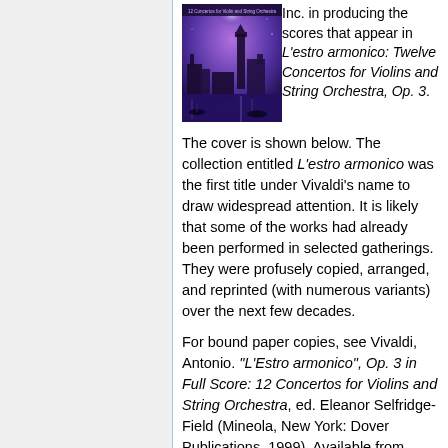[Figure (photo): Book cover of L'estro armonico: Twelve Concertos for Violins and String Orchestra, Op. 3, showing a Venetian canal scene with purple/blue sky and boats]
Inc. in producing the scores that appear in L'estro armonico: Twelve Concertos for Violins and String Orchestra, Op. 3. The cover is shown below. The collection entitled L'estro armonico was the first title under Vivaldi's name to draw widespread attention. It is likely that some of the works had already been performed in selected gatherings. They were profusely copied, arranged, and reprinted (with numerous variants) over the next few decades.
For bound paper copies, see Vivaldi, Antonio. "L'Estro armonico", Op. 3 in Full Score: 12 Concertos for Violins and String Orchestra, ed. Eleanor Selfridge-Field (Mineola, New York: Dover Publications, 1999). Available from